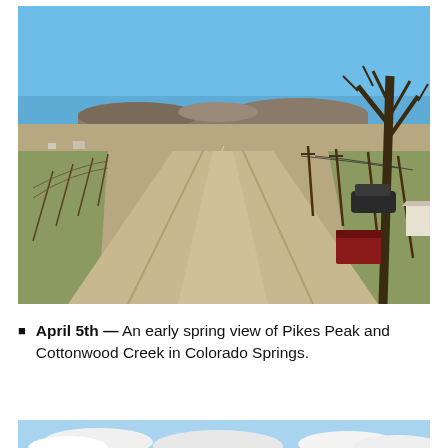[Figure (photo): A long straight dirt road stretching to the horizon across flat plains under a clear blue sky. Green grass lines the road edges, fence posts along the left, telephone poles on the right, a bare tree and small buildings/vehicle on the far right, low hills in the distance.]
April 5th — An early spring view of Pikes Peak and Cottonwood Creek in Colorado Springs.
[Figure (photo): Partial view of a sky with clouds at the bottom of the page.]